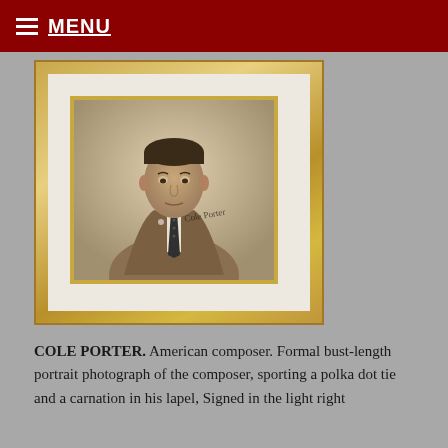MENU
[Figure (photo): Framed and matted black-and-white portrait photograph of Cole Porter, signed in the lower right area of the photo. The subject wears a polka dot tie and a carnation in his lapel. The photograph is mounted in a gold frame with a white mat and gold inner mat border.]
COLE PORTER. American composer. Formal bust-length portrait photograph of the composer, sporting a polka dot tie and a carnation in his lapel, Signed in the light right portion above his shoulder. The composer...